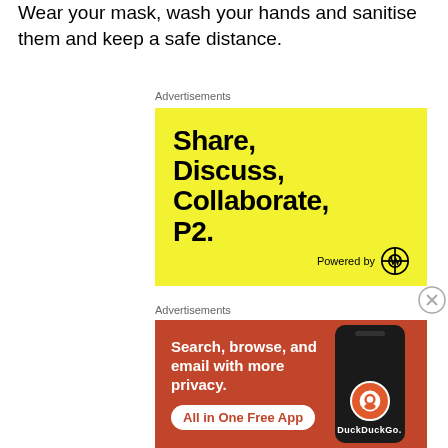Wear your mask, wash your hands and sanitise them and keep a safe distance.
Advertisements
[Figure (illustration): Yellow advertisement banner for P2 platform. Bold black text reads: Share, Discuss, Collaborate, P2. Bottom right shows 'Powered by' with WordPress logo.]
[Figure (illustration): DuckDuckGo advertisement on orange/red background. Text: 'Search, browse, and email with more privacy. All in One Free App'. Shows a smartphone with DuckDuckGo branding.]
Advertisements